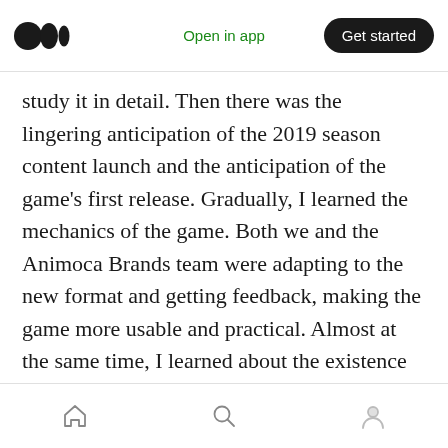Medium app header — Open in app | Get started
study it in detail. Then there was the lingering anticipation of the 2019 season content launch and the anticipation of the game's first release. Gradually, I learned the mechanics of the game. Both we and the Animoca Brands team were adapting to the new format and getting feedback, making the game more usable and practical. Almost at the same time, I learned about the existence of Opensea, the largest marketplace, because it was directly connected to the game. On this marketplace, players could deploy their marketplaces and sell or buy assets
Home | Search | Profile